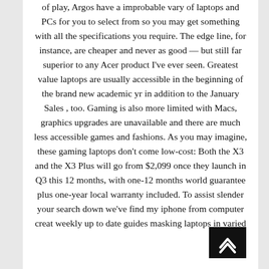of play, Argos have a improbable vary of laptops and PCs for you to select from so you may get something with all the specifications you require. The edge line, for instance, are cheaper and never as good — but still far superior to any Acer product I've ever seen. Greatest value laptops are usually accessible in the beginning of the brand new academic yr in addition to the January Sales , too. Gaming is also more limited with Macs, graphics upgrades are unavailable and there are much less accessible games and fashions. As you may imagine, these gaming laptops don't come low-cost: Both the X3 and the X3 Plus will go from $2,099 once they launch in Q3 this 12 months, with one-12 months world guarantee plus one-year local warranty included. To assist slender your search down we've find my iphone from computer creat weekly up to date guides masking laptops in varied